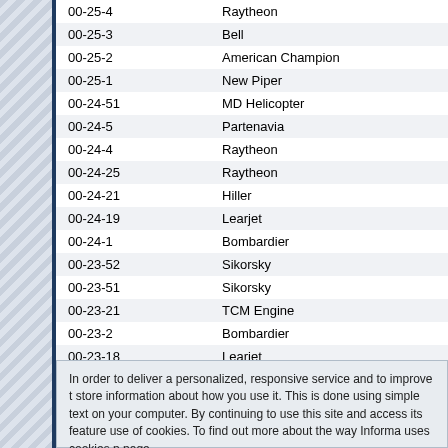| Code | Manufacturer |
| --- | --- |
| 00-25-4 | Raytheon |
| 00-25-3 | Bell |
| 00-25-2 | American Champion |
| 00-25-1 | New Piper |
| 00-24-51 | MD Helicopter |
| 00-24-5 | Partenavia |
| 00-24-4 | Raytheon |
| 00-24-25 | Raytheon |
| 00-24-21 | Hiller |
| 00-24-19 | Learjet |
| 00-24-1 | Bombardier |
| 00-23-52 | Sikorsky |
| 00-23-51 | Sikorsky |
| 00-23-21 | TCM Engine |
| 00-23-2 | Bombardier |
| 00-23-18 | Learjet |
| 00-23-13 | Galaxy/IAI |
In order to deliver a personalized, responsive service and to improve the site, we store information about how you use it. This is done using simple text files called cookies on your computer. By continuing to use this site and access its features, you are agreeing to our use of cookies. To find out more about the way Informa uses cookies please go to our cookie policy page.